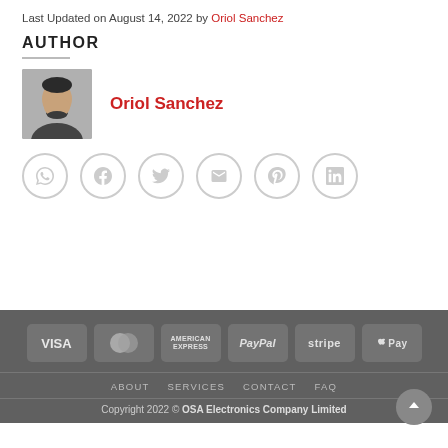Last Updated on August 14, 2022 by Oriol Sanchez
AUTHOR
[Figure (photo): Author photo of Oriol Sanchez, a man with dark hair and beard wearing a dark shirt]
Oriol Sanchez
[Figure (infographic): Six social sharing icon buttons in a row: WhatsApp, Facebook, Twitter, Email, Pinterest, LinkedIn]
[Figure (infographic): Footer with payment method badges: VISA, MasterCard, American Express, PayPal, Stripe, Apple Pay]
ABOUT   SERVICES   CONTACT   FAQ
Copyright 2022 © OSA Electronics Company Limited